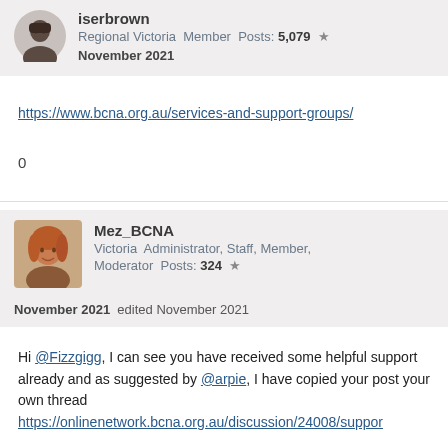iserbrown
Regional Victoria  Member  Posts: 5,079  ★
November 2021
https://www.bcna.org.au/services-and-support-groups/
0
Mez_BCNA
Victoria  Administrator, Staff, Member, Moderator  Posts: 324  ★
November 2021  edited November 2021
Hi @Fizzgigg, I can see you have received some helpful support already and as suggested by @arpie, I have copied your post your own thread https://onlinenetwork.bcna.org.au/discussion/24008/suppor